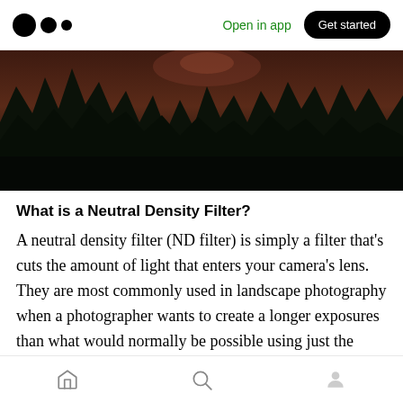Open in app   Get started
[Figure (photo): Dark forest scene with tall conifer trees and a faint pink/purple sky peeking through the treetops at dusk or night]
What is a Neutral Density Filter?
A neutral density filter (ND filter) is simply a filter that’s cuts the amount of light that enters your camera’s lens. They are most commonly used in landscape photography when a photographer wants to create a longer exposures than what would normally be possible using just the camera’s internal settings. In this article you
Home  Search  Profile